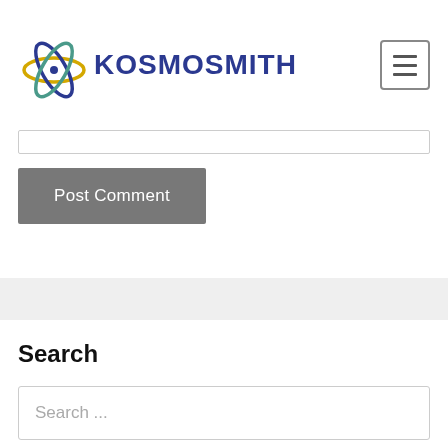[Figure (logo): Kosmosmith logo with atomic orbit graphic and bold blue text reading KOSMOSMITH]
[Figure (other): Hamburger menu icon (three horizontal lines in a square border)]
Post Comment
Search
Search ...